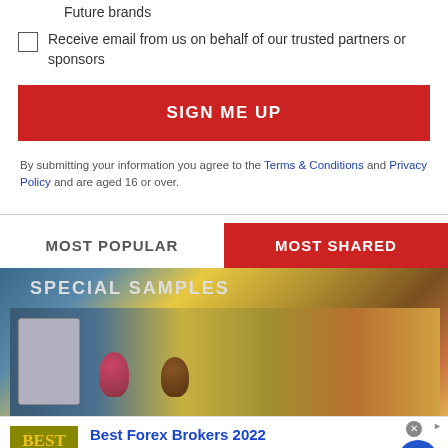Future brands
Receive email from us on behalf of our trusted partners or sponsors
SIGN ME UP
By submitting your information you agree to the Terms & Conditions and Privacy Policy and are aged 16 or over.
MOST POPULAR
MOST SHARED
[Figure (photo): Trading card photo showing 'SPECIAL SAMPLES' text and colorful card figures on yellow/blue background]
[Figure (infographic): Advertisement for Best Forex Brokers 2022 from www.forex-ratings.com]